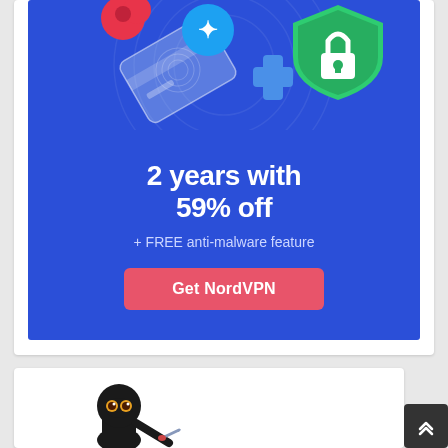[Figure (infographic): NordVPN advertisement banner with blue background. Shows 3D icons of a credit card, a blue bird/logo, a blue cross/puzzle piece, and a green shield with padlock. Text reads '2 years with 59% off + FREE anti-malware feature' with a pink 'Get NordVPN' call-to-action button.]
[Figure (illustration): Partial view of a ninja character illustration at bottom of page, appears to be a logo or mascot.]